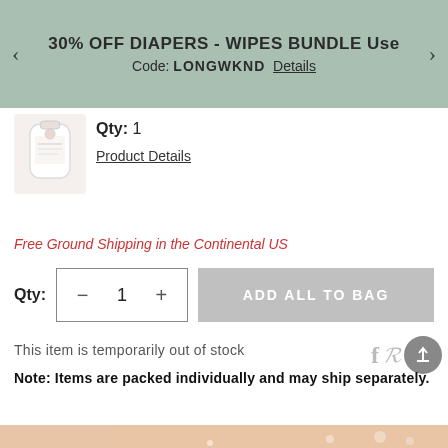30% OFF DIAPERS - WIPES BUNDLE Use Code: LONGWKND Details
Qty: 1
Product Details
Free Ground Shipping in the Continental US
Qty: 1  ADD ALL TO BAG
This item is temporarily out of stock
Note: Items are packed individually and may ship separately.
[Figure (photo): Product thumbnail - white pouch/bag product image]